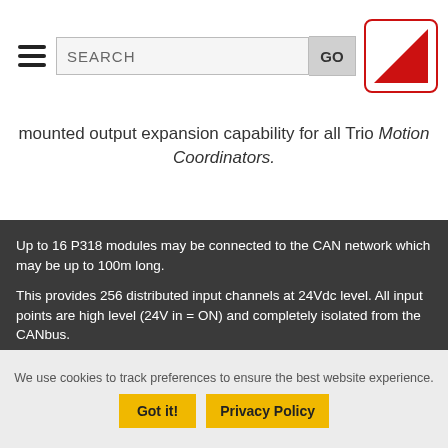SEARCH GO [logo]
mounted output expansion capability for all Trio Motion Coordinators.
Up to 16 P318 modules may be connected to the CAN network which may be up to 100m long.

This provides 256 distributed input channels at 24Vdc level. All input points are high level (24V in = ON) and completely isolated from the CANbus.

P318 modules may be mixed on the same bus, with other types in the Trio CAN I/O range. The Trio CANbus I/O expansion can considerably reduce machine wiring.
We use cookies to track preferences to ensure the best website experience.
Got it!
Privacy Policy